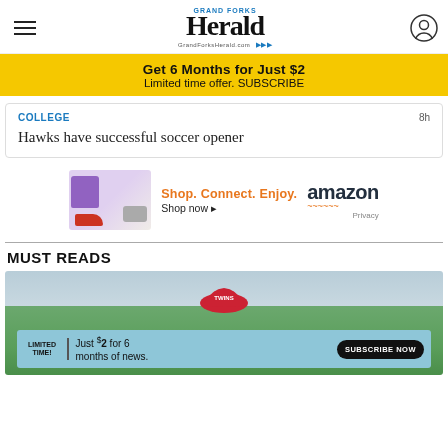Grand Forks Herald — GrandForksHerald.com
Get 6 Months for Just $2 — Limited time offer. SUBSCRIBE
COLLEGE  8h
Hawks have successful soccer opener
[Figure (photo): Amazon advertisement: Shop. Connect. Enjoy. Shop now. amazon Privacy]
MUST READS
[Figure (photo): Photo of a green farm field with a Minnesota Twins baseball cap, with an overlay subscription box reading: LIMITED TIME! Just $2 for 6 months of news. SUBSCRIBE NOW]